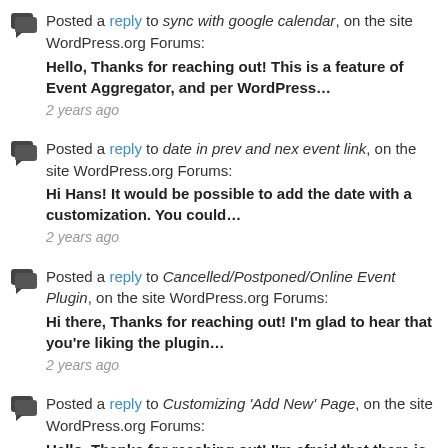Posted a reply to sync with google calendar, on the site WordPress.org Forums: Hello, Thanks for reaching out! This is a feature of Event Aggregator, and per WordPress… 2 years ago
Posted a reply to date in prev and nex event link, on the site WordPress.org Forums: Hi Hans! It would be possible to add the date with a customization. You could… 2 years ago
Posted a reply to Cancelled/Postponed/Online Event Plugin, on the site WordPress.org Forums: Hi there, Thanks for reaching out! I'm glad to hear that you're liking the plugin… 2 years ago
Posted a reply to Customizing 'Add New' Page, on the site WordPress.org Forums: Hello, Thanks for reaching out! I'm afraid that there is not a built-in way to… 3 years ago